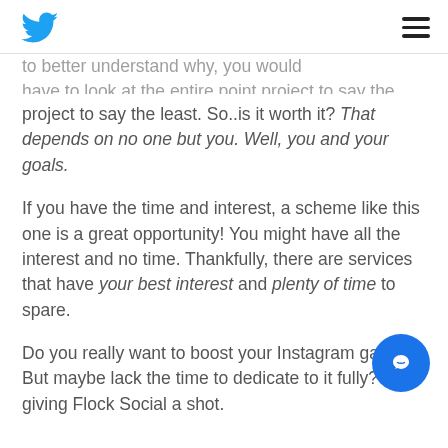[Twitter bird logo] [hamburger menu icon]
to better understand why, you would have to look at the entire point project to say the least. So..is it worth it? That depends on no one but you. Well, you and your goals.
If you have the time and interest, a scheme like this one is a great opportunity! You might have all the interest and no time. Thankfully, there are services that have your best interest and plenty of time to spare.
Do you really want to boost your Instagram game? But maybe lack the time to dedicate to it fully? Try giving Flock Social a shot.
[Figure (other): Blue circular chat/message button in bottom right corner]